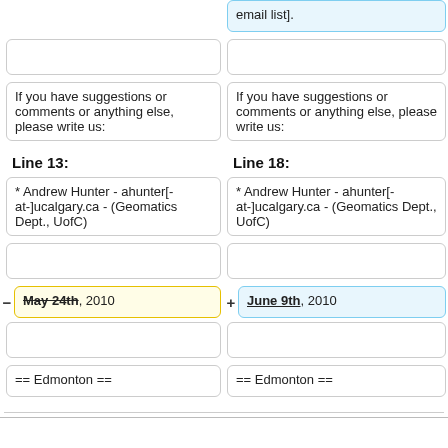email list].
If you have suggestions or comments or anything else, please write us:
If you have suggestions or comments or anything else, please write us:
Line 13:
Line 18:
* Andrew Hunter - ahunter[-at-]ucalgary.ca - (Geomatics Dept., UofC)
* Andrew Hunter - ahunter[-at-]ucalgary.ca - (Geomatics Dept., UofC)
May 24th, 2010
June 9th, 2010
== Edmonton ==
== Edmonton ==